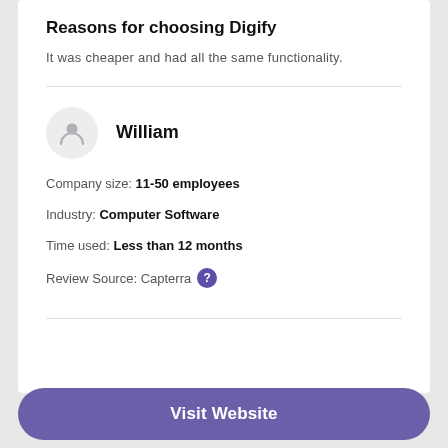Reasons for choosing Digify
It was cheaper and had all the same functionality.
William
Company size: 11-50 employees
Industry: Computer Software
Time used: Less than 12 months
Review Source: Capterra
Visit Website